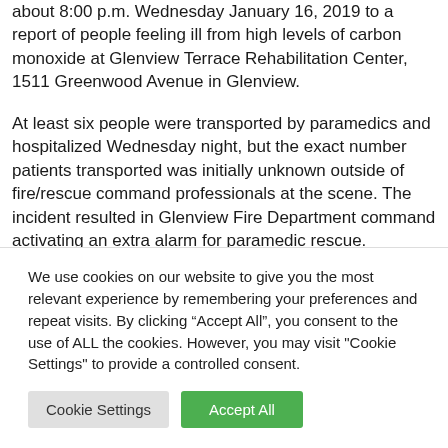about 8:00 p.m. Wednesday January 16, 2019 to a report of people feeling ill from high levels of carbon monoxide at Glenview Terrace Rehabilitation Center, 1511 Greenwood Avenue in Glenview.
At least six people were transported by paramedics and hospitalized Wednesday night, but the exact number patients transported was initially unknown outside of fire/rescue command professionals at the scene. The incident resulted in Glenview Fire Department command activating an extra alarm for paramedic rescue.
We use cookies on our website to give you the most relevant experience by remembering your preferences and repeat visits. By clicking “Accept All”, you consent to the use of ALL the cookies. However, you may visit "Cookie Settings" to provide a controlled consent.